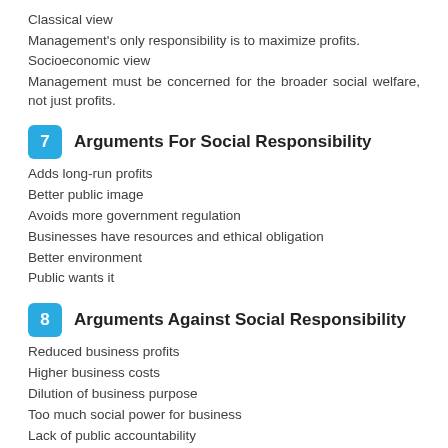Classical view
Management's only responsibility is to maximize profits.
Socioeconomic view
Management must be concerned for the broader social welfare, not just profits.
7  Arguments For Social Responsibility
Adds long-run profits
Better public image
Avoids more government regulation
Businesses have resources and ethical obligation
Better environment
Public wants it
8  Arguments Against Social Responsibility
Reduced business profits
Higher business costs
Dilution of business purpose
Too much social power for business
Lack of public accountability
9  Criteria for Evaluation